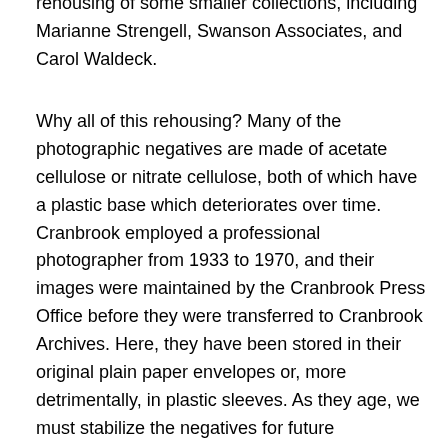rehousing of some smaller collections, including Marianne Strengell, Swanson Associates, and Carol Waldeck.
Why all of this rehousing? Many of the photographic negatives are made of acetate cellulose or nitrate cellulose, both of which have a plastic base which deteriorates over time. Cranbrook employed a professional photographer from 1933 to 1970, and their images were maintained by the Cranbrook Press Office before they were transferred to Cranbrook Archives. Here, they have been stored in their original plain paper envelopes or, more detrimentally, in plastic sleeves. As they age, we must stabilize the negatives for future generations by rehousing them in acid-free paper envelopes.